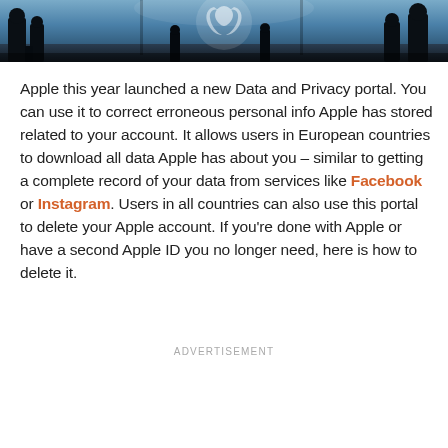[Figure (photo): A dark blue-toned photo of silhouetted people in what appears to be an Apple Store, with the Apple logo visible in the background.]
Apple this year launched a new Data and Privacy portal. You can use it to correct erroneous personal info Apple has stored related to your account. It allows users in European countries to download all data Apple has about you – similar to getting a complete record of your data from services like Facebook or Instagram. Users in all countries can also use this portal to delete your Apple account. If you're done with Apple or have a second Apple ID you no longer need, here is how to delete it.
ADVERTISEMENT